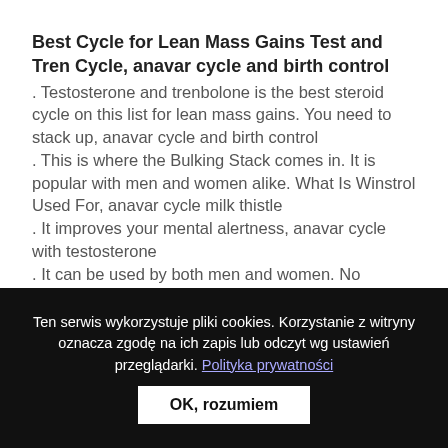Best Cycle for Lean Mass Gains Test and Tren Cycle, anavar cycle and birth control
. Testosterone and trenbolone is the best steroid cycle on this list for lean mass gains. You need to stack up, anavar cycle and birth control . This is where the Bulking Stack comes in. It is popular with men and women alike. What Is Winstrol Used For, anavar cycle milk thistle . It improves your mental alertness, anavar cycle with testosterone . It can be used by both men and women. No Dosage: 1 Full Dropper (10 mg) Where to Buy: Science Bio, anavar cycle support
Ten serwis wykorzystuje pliki cookies. Korzystanie z witryny oznacza zgodę na ich zapis lub odczyt wg ustawień przeglądarki. Polityka prywatności